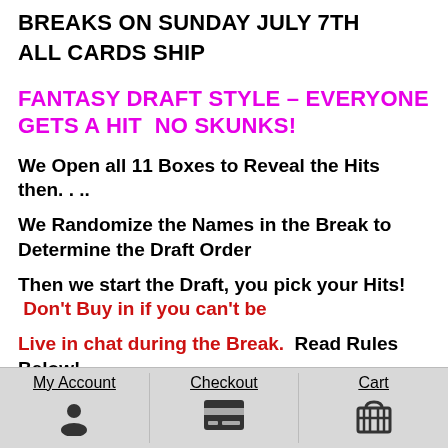BREAKS ON SUNDAY JULY 7TH
ALL CARDS SHIP
FANTASY DRAFT STYLE – EVERYONE GETS A HIT  NO SKUNKS!
We Open all 11 Boxes to Reveal the Hits then. . ..
We Randomize the Names in the Break to Determine the Draft Order
Then we start the Draft, you pick your Hits!  Don't Buy in if you can't be Live in chat during the Break.  Read Rules Below!
*You will earn Dynasty Credits when purchasing this product, however Dynasty Credits cannot be redeemed for this break (No Discounts)
My Account   Checkout   Cart